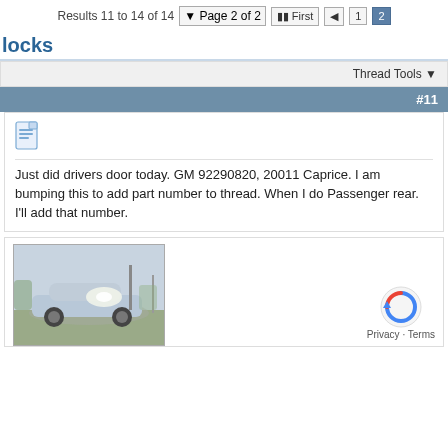Results 11 to 14 of 14  Page 2 of 2  First  1  2
locks
Thread Tools
#11
Just did drivers door today. GM 92290820, 20011 Caprice. I am bumping this to add part number to thread. When I do Passenger rear. I'll add that number.
[Figure (photo): Photo of a silver/grey sedan car parked outdoors, taken from a low angle with sunlight in background.]